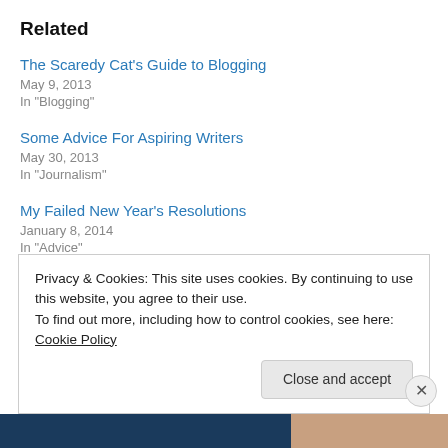Related
The Scaredy Cat’s Guide to Blogging
May 9, 2013
In “Blogging”
Some Advice For Aspiring Writers
May 30, 2013
In “Journalism”
My Failed New Year’s Resolutions
January 8, 2014
In “Advice”
Privacy & Cookies: This site uses cookies. By continuing to use this website, you agree to their use.
To find out more, including how to control cookies, see here: Cookie Policy
Close and accept